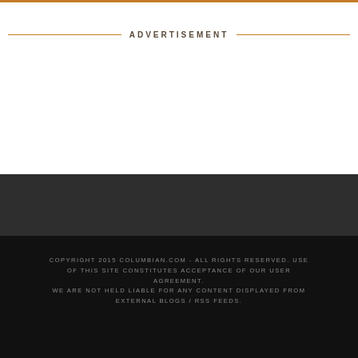ADVERTISEMENT
COPYRIGHT 2015 COLUMBIAN.COM - ALL RIGHTS RESERVED. USE OF THIS SITE CONSTITUTES ACCEPTANCE OF OUR USER AGREEMENT. WE ARE NOT HELD LIABLE FOR ANY CONTENT DISPLAYED FROM EXTERNAL BLOGS / RSS FEEDS.